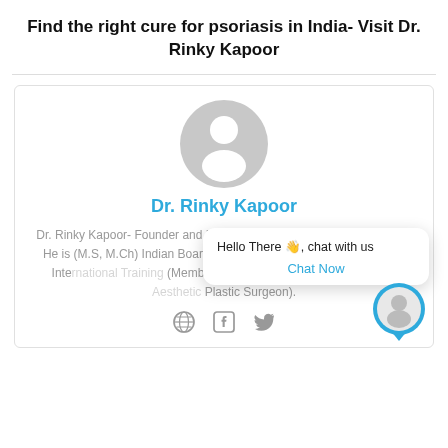Find the right cure for psoriasis in India- Visit Dr. Rinky Kapoor
[Figure (photo): Default user avatar placeholder (grey silhouette on light grey circle background)]
Dr. Rinky Kapoor
Dr. Rinky Kapoor- Founder and Medical Director of The Esthetic Clinic, He is (M.S, M.Ch) Indian Board Certified Facial Plastic Surgeon with International Training (Member of ISAPS- International Society of Aesthetic Plastic Surgeon).
[Figure (infographic): Social icons: globe, Facebook, Twitter]
[Figure (screenshot): Chat widget popup showing 'Hello There 👋, chat with us' and a 'Chat Now' button, plus a chat avatar in the bottom right corner]